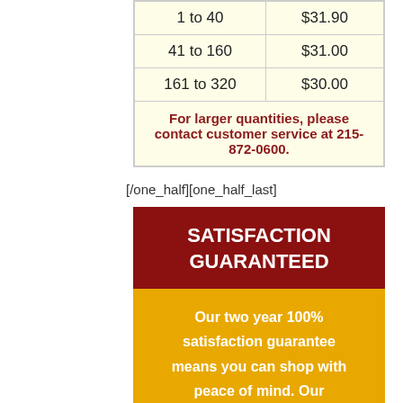| 1 to 40 | $31.90 |
| 41 to 160 | $31.00 |
| 161 to 320 | $30.00 |
| For larger quantities, please contact customer service at 215-872-0600. |  |
[/one_half][one_half_last]
SATISFACTION GUARANTEED
Our two year 100% satisfaction guarantee means you can shop with peace of mind. Our cartridges have been tested and monitored for performance quality and page yield. In the event that you are dissatisfied with your purchase, simply let us